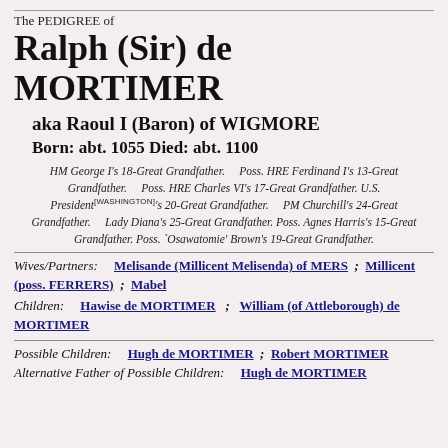The PEDIGREE of
Ralph (Sir) de MORTIMER
aka Raoul I (Baron) of WIGMORE
Born: abt. 1055    Died: abt. 1100
HM George I's 18-Great Grandfather. Poss. HRE Ferdinand I's 13-Great Grandfather. Poss. HRE Charles VI's 17-Great Grandfather. U.S. President [WASHINGTON]'s 20-Great Grandfather. PM Churchill's 24-Great Grandfather. Lady Diana's 25-Great Grandfather. Poss. Agnes Harris's 15-Great Grandfather. Poss. `Osawatomie' Brown's 19-Great Grandfather.
Wives/Partners: Melisande (Millicent Melisenda) of MERS ; Millicent (poss. FERRERS) ; Mabel
Children: Hawise de MORTIMER ; William (of Attleborough) de MORTIMER
Possible Children: Hugh de MORTIMER ; Robert MORTIMER
Alternative Father of Possible Children: Hugh de MORTIMER